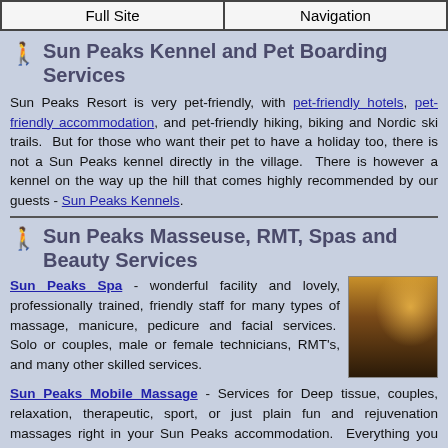Full Site | Navigation
Sun Peaks Kennel and Pet Boarding Services
Sun Peaks Resort is very pet-friendly, with pet-friendly hotels, pet-friendly accommodation, and pet-friendly hiking, biking and Nordic ski trails. But for those who want their pet to have a holiday too, there is not a Sun Peaks kennel directly in the village. There is however a kennel on the way up the hill that comes highly recommended by our guests - Sun Peaks Kennels.
Sun Peaks Masseuse, RMT, Spas and Beauty Services
Sun Peaks Spa - wonderful facility and lovely, professionally trained, friendly staff for many types of massage, manicure, pedicure and facial services. Solo or couples, male or female technicians, RMT's, and many other skilled services.
[Figure (photo): Interior spa photo showing warm amber lighting and spa furniture]
Sun Peaks Mobile Massage - Services for Deep tissue, couples, relaxation, therapeutic, sport, or just plain fun and rejuvenation massages right in your Sun Peaks accommodation. Everything you need is brought right to you.